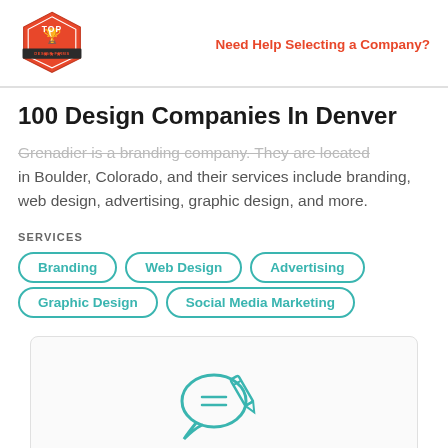Top Design Firms | Need Help Selecting a Company?
100 Design Companies In Denver
Grenadier is a branding company. They are located in Boulder, Colorado, and their services include branding, web design, advertising, graphic design, and more.
SERVICES
Branding
Web Design
Advertising
Graphic Design
Social Media Marketing
[Figure (illustration): Icon of a speech bubble with a pencil writing on a notepad, representing a review or testimonial.]
Worked with Grenadier before?